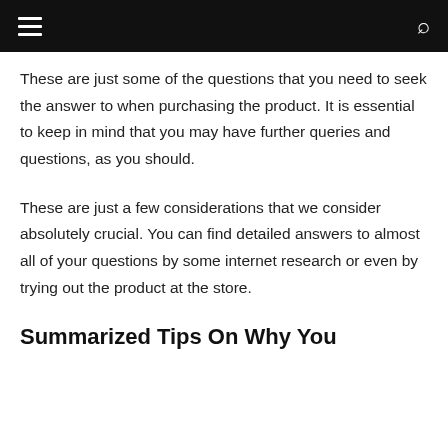☰  🔍
These are just some of the questions that you need to seek the answer to when purchasing the product. It is essential to keep in mind that you may have further queries and questions, as you should.
These are just a few considerations that we consider absolutely crucial. You can find detailed answers to almost all of your questions by some internet research or even by trying out the product at the store.
Summarized Tips On Why You